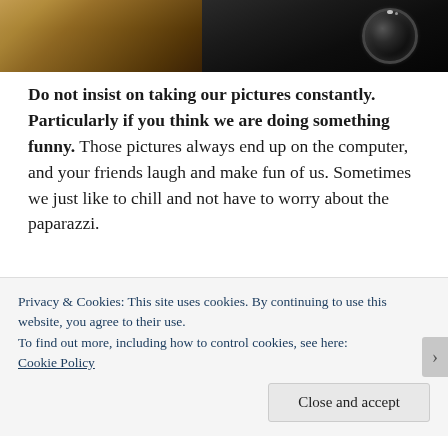[Figure (photo): Partial image of a cat with brown/golden fur next to a black camera with lens visible, cropped at the top of the page]
Do not insist on taking our pictures constantly. Particularly if you think we are doing something funny. Those pictures always end up on the computer, and your friends laugh and make fun of us. Sometimes we just like to chill and not have to worry about the paparazzi.
Privacy & Cookies: This site uses cookies. By continuing to use this website, you agree to their use.
To find out more, including how to control cookies, see here:
Cookie Policy
Close and accept